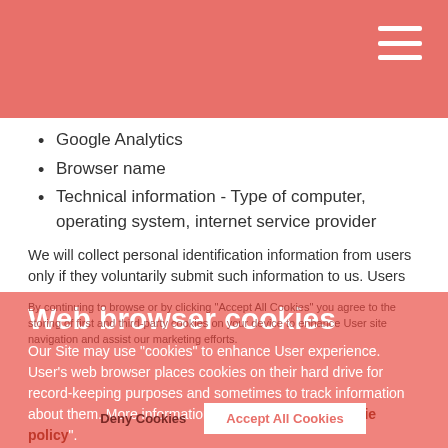Google Analytics
Browser name
Technical information - Type of computer, operating system, internet service provider
We will collect personal identification information from users only if they voluntarily submit such information to us. Users can always refuse to supply personally identification information.
Web browser cookies
Our Site may use "cookies" to enhance User experience. User's web browser places cookies on their hard drive for record-keeping purposes and sometimes to track information about them. More information is available in our "cookie policy".